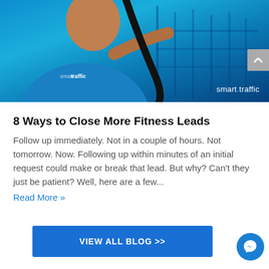[Figure (photo): A man wearing a blue 'smart traffic' branded t-shirt pointing with one finger, set against a blue-toned gym/fitness background. Smart Traffic logo appears in the bottom right of the image.]
8 Ways to Close More Fitness Leads
Follow up immediately. Not in a couple of hours. Not tomorrow. Now. Following up within minutes of an initial request could make or break that lead. But why? Can't they just be patient? Well, here are a few...
Read More »
VIEW ALL BLOG >>